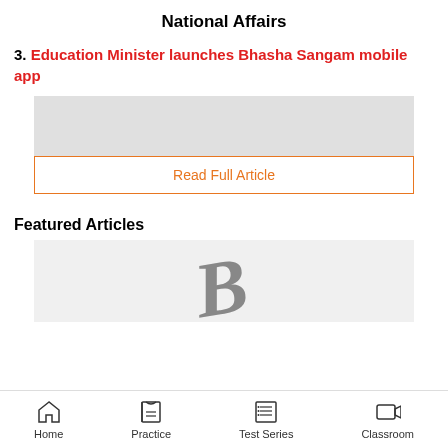National Affairs
3. Education Minister launches Bhasha Sangam mobile app
[Figure (other): Gray placeholder image area for article]
Read Full Article
Featured Articles
[Figure (other): Gray image area with stylized letter B logo]
Home | Practice | Test Series | Classroom